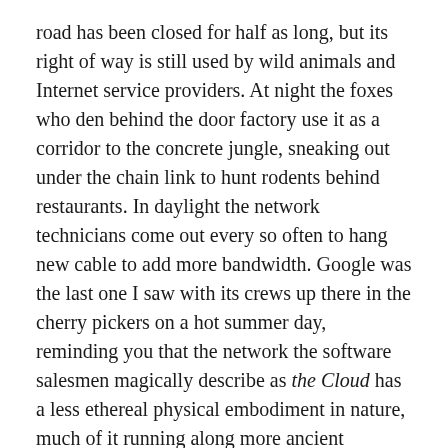road has been closed for half as long, but its right of way is still used by wild animals and Internet service providers. At night the foxes who den behind the door factory use it as a corridor to the concrete jungle, sneaking out under the chain link to hunt rodents behind restaurants. In daylight the network technicians come out every so often to hang new cable to add more bandwidth. Google was the last one I saw with its crews up there in the cherry pickers on a hot summer day, reminding you that the network the software salesmen magically describe as the Cloud has a less ethereal physical embodiment in nature, much of it running along more ancient pathways we stole from the Indians, and they got from the migratory megafauna we mostly exterminated.
The day before Michaelmas I noticed that the old AT&T